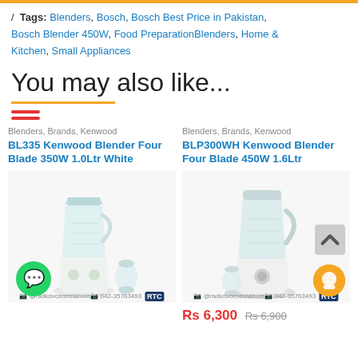/ Tags: Blenders, Bosch, Bosch Best Price in Pakistan, Bosch Blender 450W, Food PreparationBlenders, Home & Kitchen, Small Appliances
You may also like...
Blenders, Brands, Kenwood
BL335 Kenwood Blender Four Blade 350W 1.0Ltr White
[Figure (photo): Kenwood BL335 white blender with transparent jug and accessories]
Blenders, Brands, Kenwood
BLP300WH Kenwood Blender Four Blade 450W 1.6Ltr
[Figure (photo): Kenwood BLP300WH white blender with transparent jug and grinder accessory]
Rs 6,300  Rs 6,900